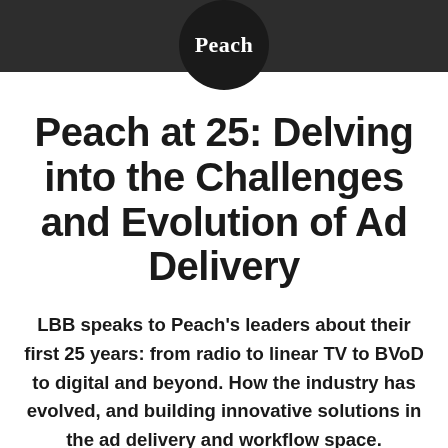[Figure (logo): Peach logo: white bold serif text 'Peach' inside a dark circular badge on a dark grey header bar]
Peach at 25: Delving into the Challenges and Evolution of Ad Delivery
LBB speaks to Peach's leaders about their first 25 years: from radio to linear TV to BVoD to digital and beyond. How the industry has evolved, and building innovative solutions in the ad delivery and workflow space.